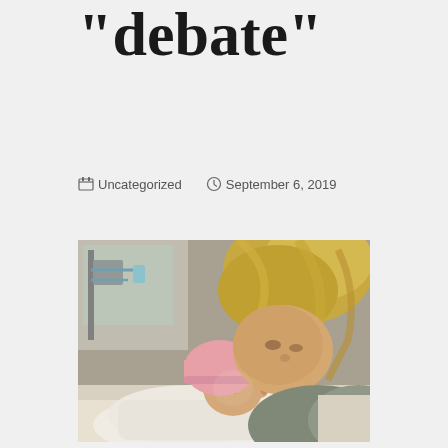"debate"
Uncategorized   September 6, 2019
[Figure (photo): A woman with shoulder-length blonde hair leans over a newborn baby wearing a pink knit hat, in what appears to be a hospital setting with medical equipment visible in the background.]